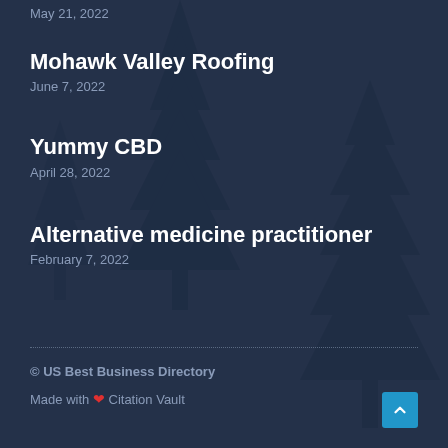May 21, 2022
Mohawk Valley Roofing
June 7, 2022
Yummy CBD
April 28, 2022
Alternative medicine practitioner
February 7, 2022
© US Best Business Directory
Made with ❤ Citation Vault